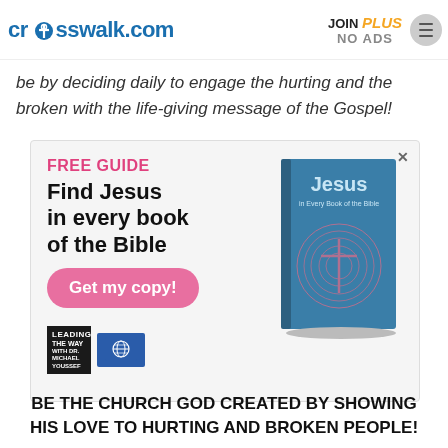crosswalk.com | JOIN PLUS NO ADS
be by deciding daily to engage the hurting and the broken with the life-giving message of the Gospel!
[Figure (infographic): Advertisement for 'Find Jesus in every book of the Bible' free guide with a 'Get my copy!' button and a book cover image. Logos for Leading the Way and a globe organization at the bottom.]
BE THE CHURCH GOD CREATED BY SHOWING HIS LOVE TO HURTING AND BROKEN PEOPLE!